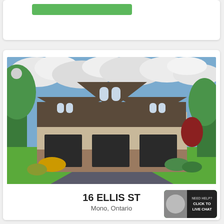[Figure (other): Top card with green button, partially visible]
[Figure (photo): Exterior photograph of a large suburban house at 16 Ellis St, Mono, Ontario. Two-storey craftsman-style home with dark shingle roof, beige siding, three dark garage doors, stone accents, manicured green lawn, large paved driveway, trees on both sides, cloudy blue sky.]
16 ELLIS ST
Mono, Ontario